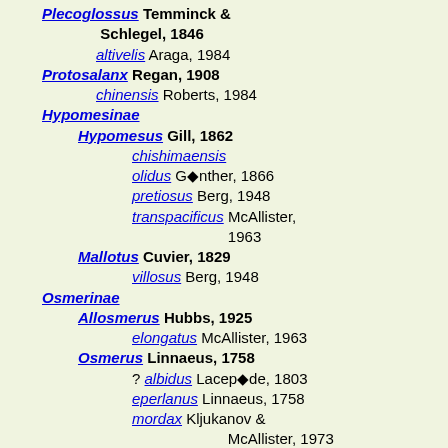Plecoglossus Temminck & Schlegel, 1846
altivelis Araga, 1984
Protosalanx Regan, 1908
chinensis Roberts, 1984
Hypomesinae
Hypomesus Gill, 1862
chishimaensis
olidus Günther, 1866
pretiosus Berg, 1948
transpacificus McAllister, 1963
Mallotus Cuvier, 1829
villosus Berg, 1948
Osmerinae
Allosmerus Hubbs, 1925
elongatus McAllister, 1963
Osmerus Linnaeus, 1758
? albidus Lacepède, 1803
eperlanus Linnaeus, 1758
mordax Kljukanov & McAllister, 1973
Spirinchus Jordan & Evermann (ex Jonston), 1896
lanceolatus McAllister